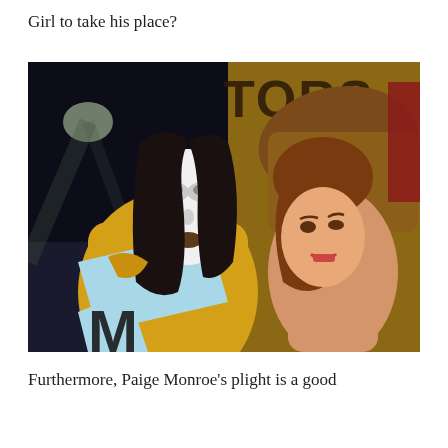Girl to take his place?
[Figure (illustration): Animated cartoon scene showing two characters: one with a white mask face and dark hair wearing yellow, holding a light blue object, and another character with brown hair and fair skin looking up with an open mouth expression. Background has dark and brown tones with partially visible text.]
Furthermore, Paige Monroe's plight is a good